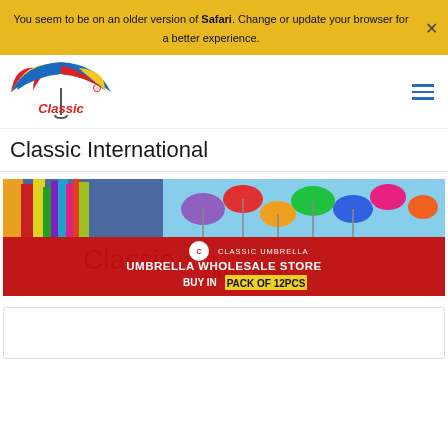You seem to be on an older version of Safari. Change or update your browser for a better experience.
[Figure (logo): Classic Umbrella logo - colorful umbrella graphic above red Classic text]
Classic International
[Figure (photo): Classic Umbrella promotional banner showing colorful umbrellas hanging in a store and decorative umbrellas in the sky. Red background section reads UMBRELLA WHOLESALE STORE BUY IN PACK OF 12PCS with Classic Umbrella logo.]
[Figure (other): White card/box at bottom of page, partially visible]